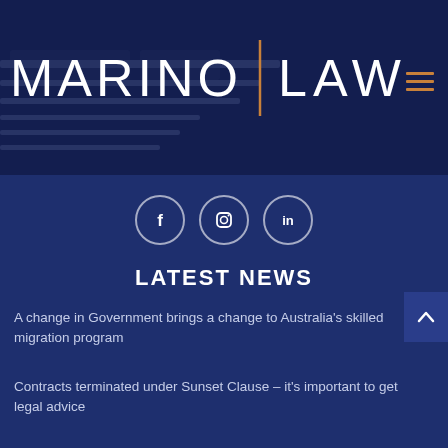[Figure (logo): Marino Law logo on dark blue banner background with keyboard imagery. White text reads MARINO | LAW with a vertical orange/gold divider line. Hamburger menu icon in orange at top right.]
[Figure (infographic): Three social media icons in circular outlines: Facebook (f), Instagram (camera), LinkedIn (in), centered on dark blue background.]
LATEST NEWS
A change in Government brings a change to Australia's skilled migration program
Contracts terminated under Sunset Clause – it's important to get legal advice